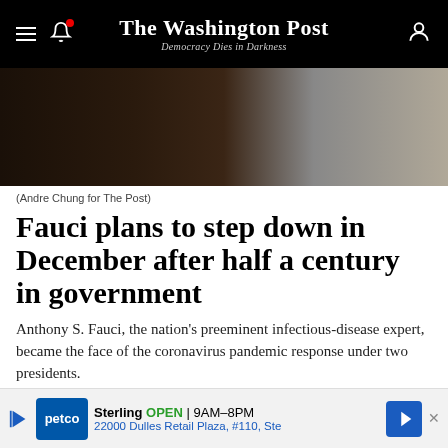The Washington Post — Democracy Dies in Darkness
[Figure (photo): Dark moody photograph, partial view of a person and a textured wall in low light]
(Andre Chung for The Post)
Fauci plans to step down in December after half a century in government
Anthony S. Fauci, the nation's preeminent infectious-disease expert, became the face of the coronavirus pandemic response under two presidents.
By Yasmeen Abutaleb
MORE COVERAGE
From The Magazine: The pandemic is waning. Anthony Fauci has a few more lessons to share.
[Figure (infographic): Petco advertisement banner: Sterling OPEN 9AM-8PM, 22000 Dulles Retail Plaza, #110, Ste]